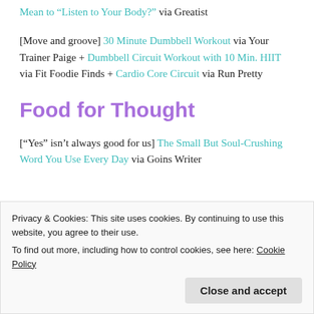Mean to “Listen to Your Body?” via Greatist
[Move and groove] 30 Minute Dumbbell Workout via Your Trainer Paige + Dumbbell Circuit Workout with 10 Min. HIIT via Fit Foodie Finds + Cardio Core Circuit via Run Pretty
Food for Thought
[“Yes” isn’t always good for us] The Small But Soul-Crushing Word You Use Every Day via Goins Writer
Privacy & Cookies: This site uses cookies. By continuing to use this website, you agree to their use.
To find out more, including how to control cookies, see here: Cookie Policy
Close and accept